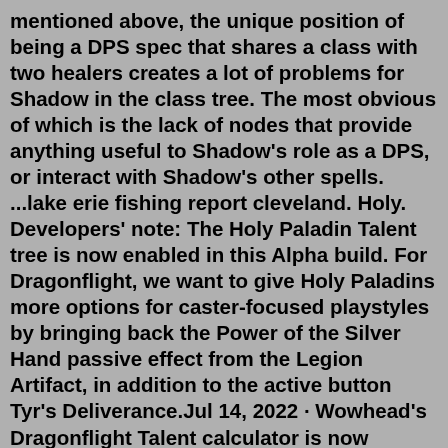mentioned above, the unique position of being a DPS spec that shares a class with two healers creates a lot of problems for Shadow in the class tree. The most obvious of which is the lack of nodes that provide anything useful to Shadow's role as a DPS, or interact with Shadow's other spells. ...lake erie fishing report cleveland. Holy. Developers' note: The Holy Paladin Talent tree is now enabled in this Alpha build. For Dragonflight, we want to give Holy Paladins more options for caster-focused playstyles by bringing back the Power of the Silver Hand passive effect from the Legion Artifact, in addition to the active button Tyr's Deliverance.Jul 14, 2022 · Wowhead's Dragonflight Talent calculator is now updated to support Dragonflight alpha data for all six available classes. There have been some changes to the existing class trees since their blog previews several weeks ago, and with the Dragonflight alpha starting, our calculators will now automatically update each build to reflect the latest changes. Dragonflight Priest Talent Trees are here! After over a month of wait since we got to